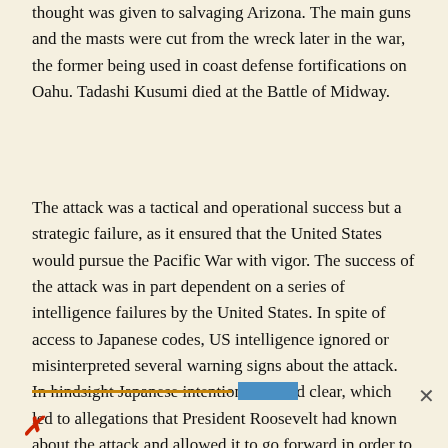thought was given to salvaging Arizona. The main guns and the masts were cut from the wreck later in the war, the former being used in coast defense fortifications on Oahu. Tadashi Kusumi died at the Battle of Midway.
The attack was a tactical and operational success but a strategic failure, as it ensured that the United States would pursue the Pacific War with vigor. The success of the attack was in part dependent on a series of intelligence failures by the United States. In spite of access to Japanese codes, US intelligence ignored or misinterpreted several warning signs about the attack. In hindsight Japanese intentions seemed clear, which led to allegations that President Roosevelt had known about the attack and allowed it to go forward in order to embroil the United States in war. Several investigations during the war probed the reasons for the intelligence failure, coming to no particularly earth-